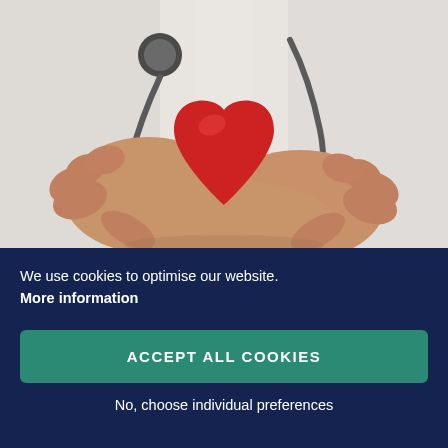[Figure (photo): A doctor in a white lab coat with a stethoscope holding a red heart-shaped object in cupped hands, close-up shot.]
We use cookies to optimise our website. More information
ACCEPT ALL COOKIES
No, choose individual preferences